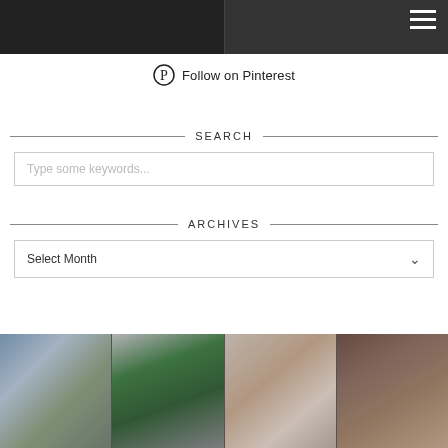[Figure (photo): Top image strip showing partial photos of people, dark background with hamburger menu icon in top right]
Follow on Pinterest
SEARCH
Type some keywords...
ARCHIVES
Select Month
[Figure (photo): Four Instagram-style photos in a grid: family sitting on steps, woman in green top taking mirror selfie, couple selfie in bed with baby, family with children in rustic setting]